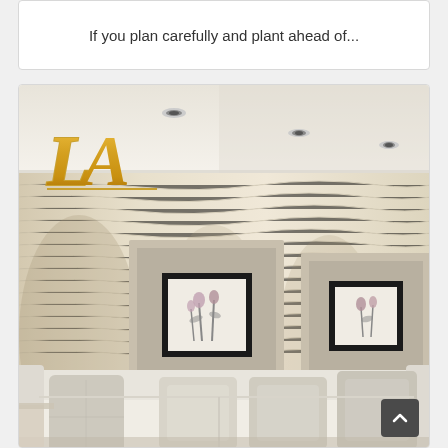If you plan carefully and plant ahead of...
[Figure (photo): Interior design photo showing a modern living room with a textured cream/beige wave-pattern wall. Two framed artworks with floral motifs hang on the wall. A white sofa with light gray pillows sits in the foreground. Recessed ceiling lights illuminate the space. A gold 'LA' logo/watermark appears in the upper left corner of the image.]